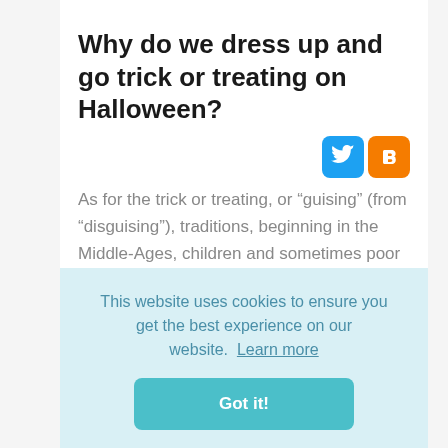Why do we dress up and go trick or treating on Halloween?
[Figure (other): Social sharing icons: Twitter (blue) and Blogger (orange)]
As for the trick or treating, or “guising” (from “disguising”), traditions, beginning in the Middle-Ages, children and sometimes poor adults would dress up in the aforementioned costumes and go around
This website uses cookies to ensure you get the best experience on our website.  Learn more
Got it!